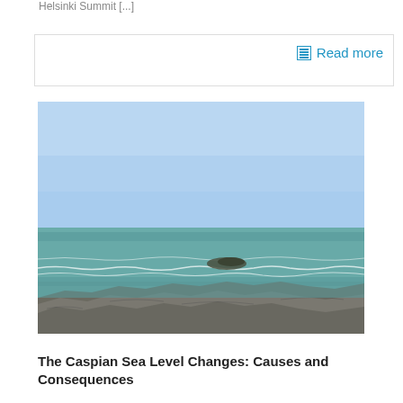Helsinki Summit [...]
Read more
[Figure (photo): Photograph of the Caspian Sea shoreline showing rocky foreground, turquoise-green choppy water in the middle ground, and a clear blue sky in the background. A dark rocky outcrop is visible in the water.]
The Caspian Sea Level Changes: Causes and Consequences